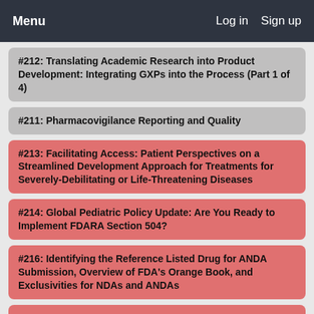Menu   Log in   Sign up
#212: Translating Academic Research into Product Development: Integrating GXPs into the Process (Part 1 of 4)
#211: Pharmacovigilance Reporting and Quality
#213: Facilitating Access: Patient Perspectives on a Streamlined Development Approach for Treatments for Severely-Debilitating or Life-Threatening Diseases
#214: Global Pediatric Policy Update: Are You Ready to Implement FDARA Section 504?
#216: Identifying the Reference Listed Drug for ANDA Submission, Overview of FDA's Orange Book, and Exclusivities for NDAs and ANDAs
#215: Conducting Clinical Trials with GMOs: Strategies to